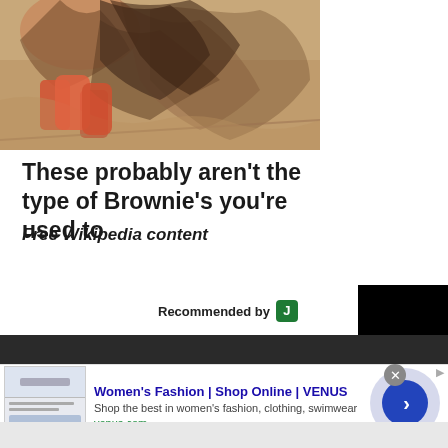[Figure (illustration): Partial illustration showing a fantasy/folklore character with orange boots and flowing dark hair, brownies/sprites style art]
These probably aren't the type of Brownie's you're used to
Free Wikipedia content
Recommended by J
[Figure (other): Black box with number 0 displayed in white]
[Figure (other): Advertisement for Women's Fashion | Shop Online | VENUS. Shop the best in women's fashion, clothing, swimwear. venus.com]